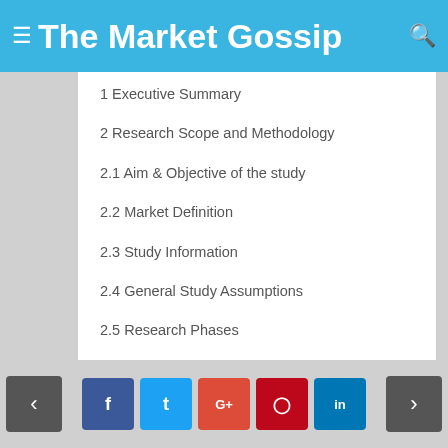The Market Gossip
1 Executive Summary
2 Research Scope and Methodology
2.1 Aim & Objective of the study
2.2 Market Definition
2.3 Study Information
2.4 General Study Assumptions
2.5 Research Phases
3 Market Analysis
< f t G+ p in >